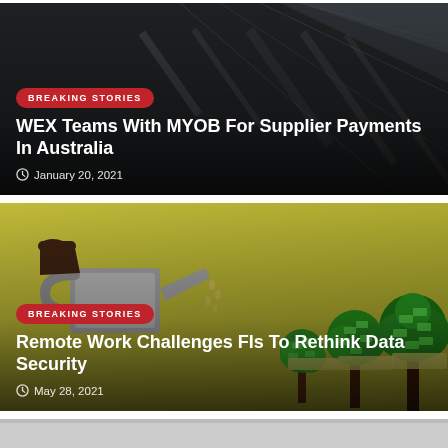[Figure (photo): Dark glass building facade viewed from below, used as background for WEX Teams With MYOB article card]
BREAKING STORIES
WEX Teams With MYOB For Supplier Payments In Australia
January 20, 2021
[Figure (illustration): Illustration of a watering can watering money trees on yellow-olive background, used as background for Remote Work Challenges FIs article card]
BREAKING STORIES
Remote Work Challenges FIs To Rethink Data Security
May 28, 2021
[Figure (photo): Partially visible third article card at bottom of page with light gray/white background]